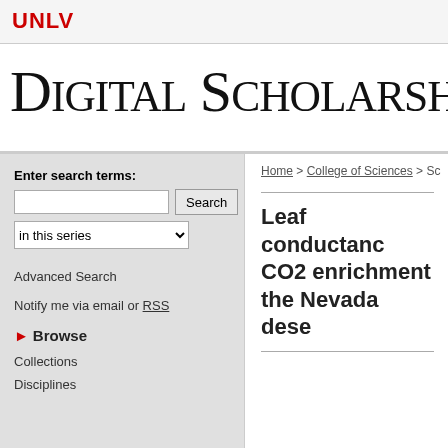UNLV
Digital Scholarship@U
Enter search terms:
in this series
Advanced Search
Notify me via email or RSS
Browse
Collections
Disciplines
Home > College of Sciences > Sc
Leaf conductance CO2 enrichment the Nevada dese